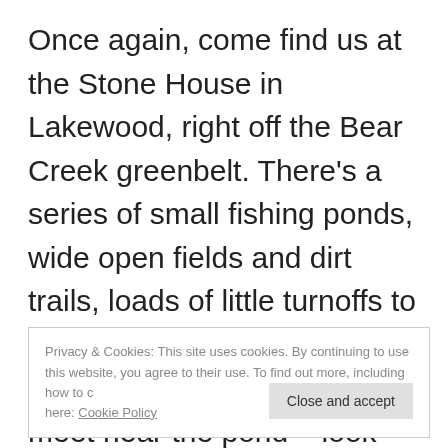Once again, come find us at the Stone House in Lakewood, right off the Bear Creek greenbelt. There's a series of small fishing ponds, wide open fields and dirt trails, loads of little turnoffs to creekside space for play + the massive, paved trail too. Let's meet near the pond – look
Privacy & Cookies: This site uses cookies. By continuing to use this website, you agree to their use. To find out more, including how to c here: Cookie Policy